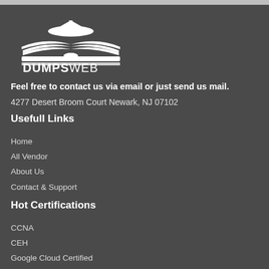[Figure (logo): DumpsWeb logo: open book with graduation cap on top, text DUMPSWEB below]
Feel free to contact us via email or just send us mail.
4277 Desert Broom Court Newark, NJ 07102
Usefull Links
Home
All Vendor
About Us
Contact & Support
Hot Certifications
CCNA
CEH
Google Cloud Certified